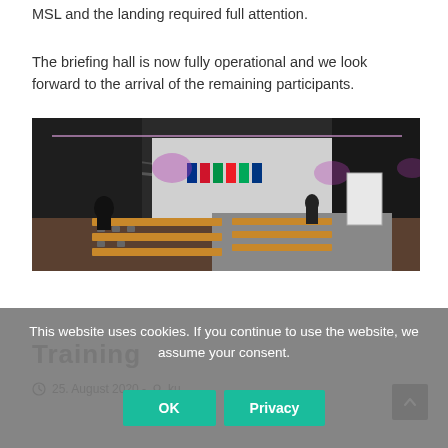MSL and the landing required full attention.
The briefing hall is now fully operational and we look forward to the arrival of the remaining participants.
[Figure (photo): Interior panoramic photo of a large briefing hall with long wooden tables and benches, flags displayed on stage area, purple/pink ambient lighting, industrial ceiling, white walls on right side.]
Training
25. August 2020 - 2...
This website uses cookies. If you continue to use the website, we assume your consent.